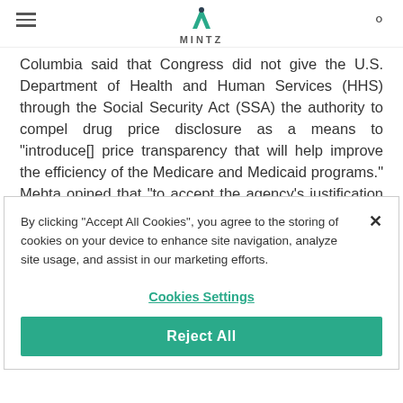MINTZ
Columbia said that Congress did not give the U.S. Department of Health and Human Services (HHS) through the Social Security Act (SSA) the authority to compel drug price disclosure as a means to “introduce[] price transparency that will help improve the efficiency of the Medicare and Medicaid programs.” Mehta opined that “to accept the agency’s justification here would swing the
By clicking “Accept All Cookies”, you agree to the storing of cookies on your device to enhance site navigation, analyze site usage, and assist in our marketing efforts.
Cookies Settings
Reject All